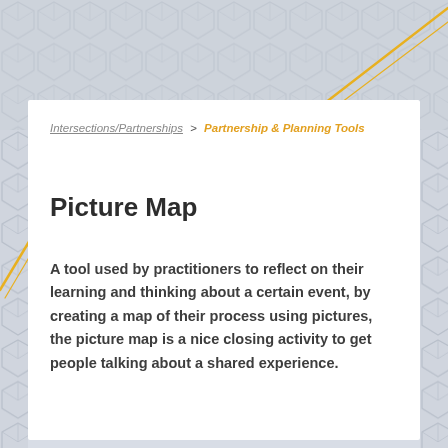Intersections/Partnerships > Partnership & Planning Tools
Picture Map
A tool used by practitioners to reflect on their learning and thinking about a certain event, by creating a map of their process using pictures, the picture map is a nice closing activity to get people talking about a shared experience.